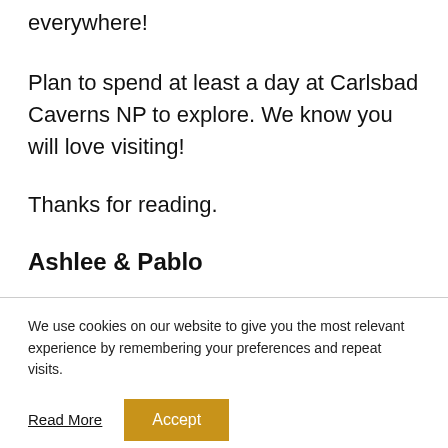everywhere!
Plan to spend at least a day at Carlsbad Caverns NP to explore. We know you will love visiting!
Thanks for reading.
Ashlee & Pablo
We use cookies on our website to give you the most relevant experience by remembering your preferences and repeat visits.
Read More  Accept